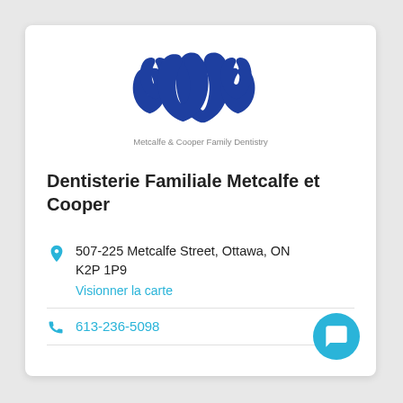[Figure (logo): Metcalfe & Cooper Family Dentistry logo — three blue stylized tooth shapes arranged as a group, with the text 'Metcalfe & Cooper Family Dentistry' below in gray]
Dentisterie Familiale Metcalfe et Cooper
507-225 Metcalfe Street, Ottawa, ON K2P 1P9
Visionner la carte
613-236-5098